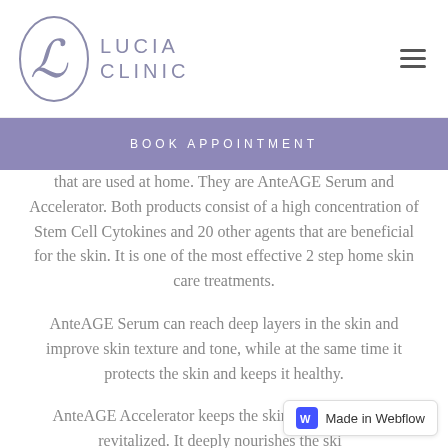LUCIA CLINIC
BOOK APPOINTMENT
that are used at home. They are AnteAGE Serum and Accelerator. Both products consist of a high concentration of Stem Cell Cytokines and 20 other agents that are beneficial for the skin. It is one of the most effective 2 step home skin care treatments.
AnteAGE Serum can reach deep layers in the skin and improve skin texture and tone, while at the same time it protects the skin and keeps it healthy.
AnteAGE Accelerator keeps the skin moisturized and revitalized. It deeply nourishes the skin from inflammation.